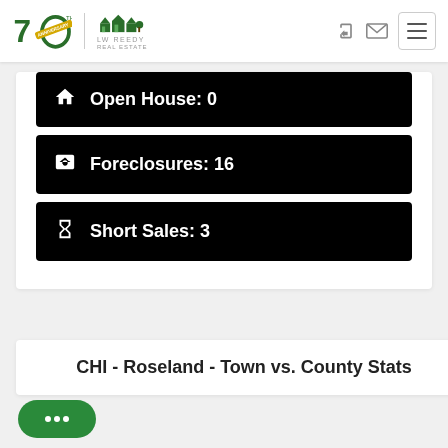[Figure (logo): LW Reedy Real Estate 70th Anniversary logo with house icon]
Open House: 0
Foreclosures: 16
Short Sales: 3
CHI - Roseland - Town vs. County Stats